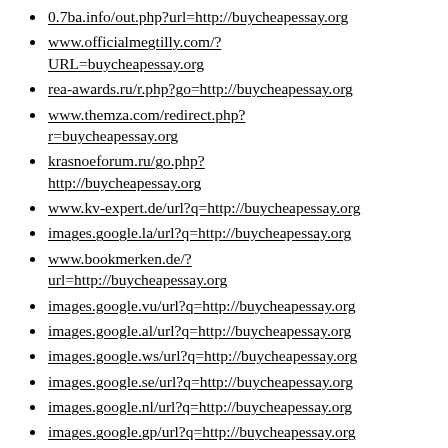0.7ba.info/out.php?url=http://buycheapessay.org
www.officialmegtilly.com/?URL=buycheapessay.org
rea-awards.ru/r.php?go=http://buycheapessay.org
www.themza.com/redirect.php?r=buycheapessay.org
krasnoeforum.ru/go.php?http://buycheapessay.org
www.kv-expert.de/url?q=http://buycheapessay.org
images.google.la/url?q=http://buycheapessay.org
www.bookmerken.de/?url=http://buycheapessay.org
images.google.vu/url?q=http://buycheapessay.org
images.google.al/url?q=http://buycheapessay.org
images.google.ws/url?q=http://buycheapessay.org
images.google.se/url?q=http://buycheapessay.org
images.google.nl/url?q=http://buycheapessay.org
images.google.gp/url?q=http://buycheapessay.org
images.google.je/url?q=http://buycheapessay.org